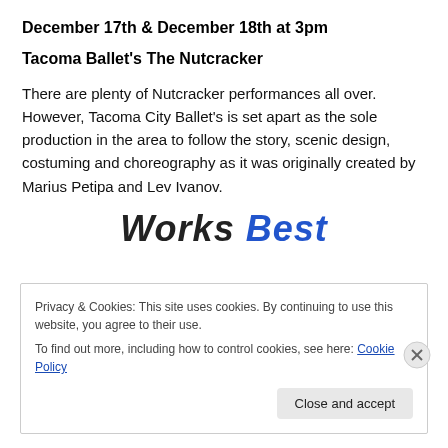December 17th & December 18th at 3pm
Tacoma Ballet's The Nutcracker
There are plenty of Nutcracker performances all over. However, Tacoma City Ballet's is set apart as the sole production in the area to follow the story, scenic design, costuming and choreography as it was originally created by Marius Petipa and Lev Ivanov.
[Figure (logo): Works Best logo with 'Works' in dark bold italic and 'Best' in blue bold italic]
Privacy & Cookies: This site uses cookies. By continuing to use this website, you agree to their use.
To find out more, including how to control cookies, see here: Cookie Policy
Close and accept